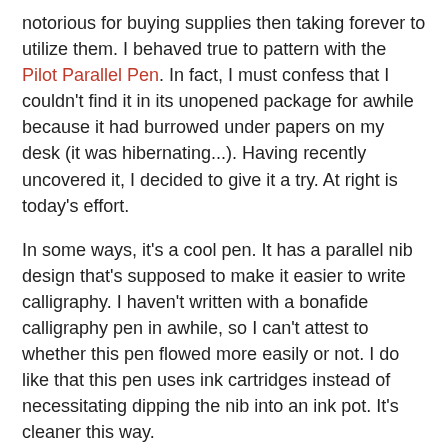notorious for buying supplies then taking forever to utilize them. I behaved true to pattern with the Pilot Parallel Pen. In fact, I must confess that I couldn't find it in its unopened package for awhile because it had burrowed under papers on my desk (it was hibernating...). Having recently uncovered it, I decided to give it a try. At right is today's effort.
In some ways, it's a cool pen. It has a parallel nib design that's supposed to make it easier to write calligraphy. I haven't written with a bonafide calligraphy pen in awhile, so I can't attest to whether this pen flowed more easily or not. I do like that this pen uses ink cartridges instead of necessitating dipping the nib into an ink pot. It's cleaner this way.
However, I feel disappointed with the pen. It comes with two ink cartridges, and with a name such as Parallel Pen, I thought I'd be able to use the two colors at the same time. Of course the Amazon.com ad copy that says "Two different ink colors can flow from the same nib for a beautiful graduated effect" might have contributed to that illusion.